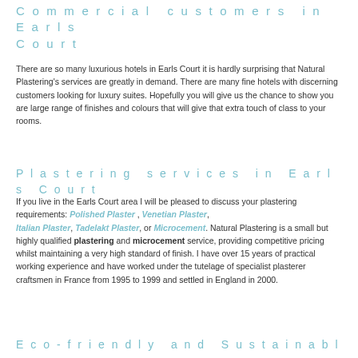Commercial customers in Earls Court
There are so many luxurious hotels in Earls Court it is hardly surprising that Natural Plastering's services are greatly in demand. There are many fine hotels with discerning customers looking for luxury suites. Hopefully you will give us the chance to show you are large range of finishes and colours that will give that extra touch of class to your rooms.
Plastering services in Earls Court
If you live in the Earls Court area I will be pleased to discuss your plastering requirements: Polished Plaster , Venetian Plaster, Italian Plaster, Tadelakt Plaster, or Microcement. Natural Plastering is a small but highly qualified plastering and microcement service, providing competitive pricing whilst maintaining a very high standard of finish. I have over 15 years of practical working experience and have worked under the tutelage of specialist plasterer craftsmen in France from 1995 to 1999 and settled in England in 2000.
Eco-friendly and Sustainable